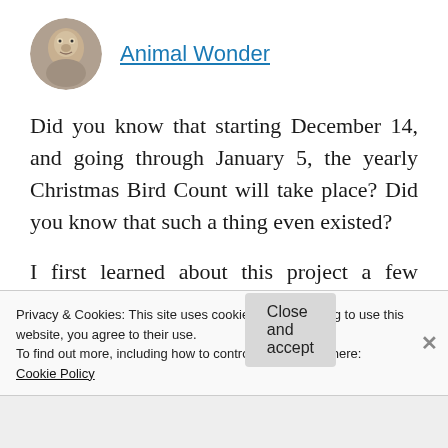[Figure (photo): Circular avatar photo of an animal (appears to be a bird or small mammal)]
Animal Wonder
Did you know that starting December 14, and going through January 5, the yearly Christmas Bird Count will take place?  Did you know that such a thing even existed?
I first learned about this project a few months ago through one of our local
Privacy & Cookies: This site uses cookies. By continuing to use this website, you agree to their use.
To find out more, including how to control cookies, see here:
Cookie Policy
Close and accept